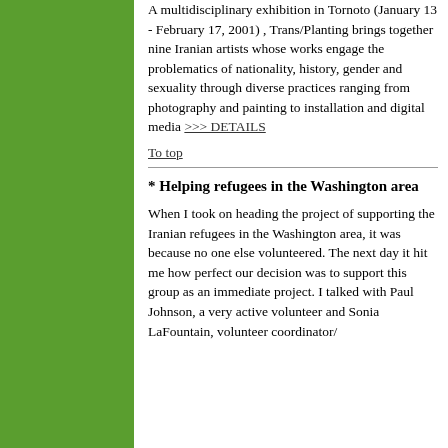[Figure (other): Green sidebar background panel on the left side of the page]
A multidisciplinary exhibition in Tornoto (January 13 - February 17, 2001) , Trans/Planting brings together nine Iranian artists whose works engage the problematics of nationality, history, gender and sexuality through diverse practices ranging from photography and painting to installation and digital media >>> DETAILS
To top
* Helping refugees in the Washington area
When I took on heading the project of supporting the Iranian refugees in the Washington area, it was because no one else volunteered. The next day it hit me how perfect our decision was to support this group as an immediate project. I talked with Paul Johnson, a very active volunteer and Sonia LaFountain, volunteer coordinator/